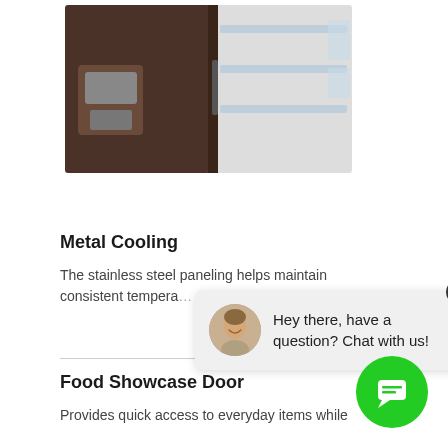[Figure (photo): Photo of a dark brown/bronze Samsung French door refrigerator with the right door open, showing interior shelves and a water/ice dispenser on the left door.]
Metal Cooling
The stainless steel paneling helps maintain consistent tempera...
[Figure (screenshot): Chat widget popup showing a smiling person avatar and text: Hey there, have a question? Chat with us! with a close X button and a green chat bubble button.]
Food Showcase Door
Provides quick access to everyday items while minimizing the loss of cool air.